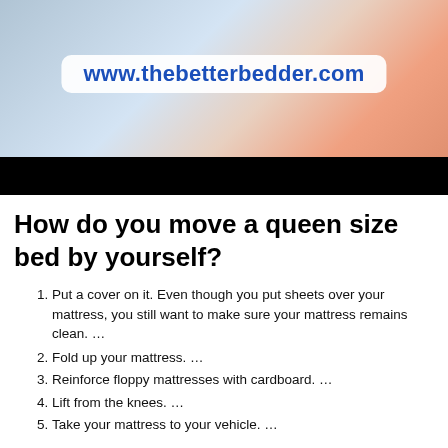[Figure (photo): Person making a bed, with a coral/orange top visible, light blue bedding, white wall in background. Black bar at bottom of image.]
www.thebetterbedder.com
How do you move a queen size bed by yourself?
Put a cover on it. Even though you put sheets over your mattress, you still want to make sure your mattress remains clean. …
Fold up your mattress. …
Reinforce floppy mattresses with cardboard. …
Lift from the knees. …
Take your mattress to your vehicle. …